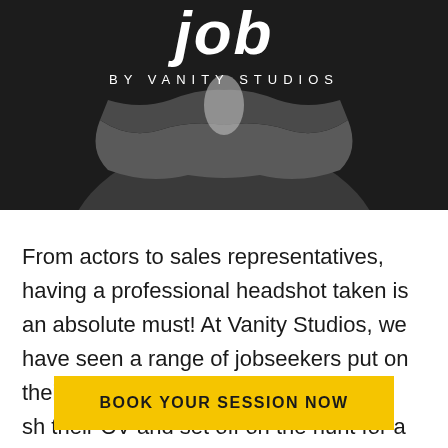[Figure (photo): Dark background photo of a person in a grey jacket with arms crossed, with title text 'job' and subtitle 'BY VANITY STUDIOS' overlaid]
job
BY VANITY STUDIOS
From actors to sales representatives, having a professional headshot taken is an absolute must! At Vanity Studios, we have seen a range of jobseekers put on their best outfits and drop by fo... sh their CV and set off on the hunt for a new job.
BOOK YOUR SESSION NOW